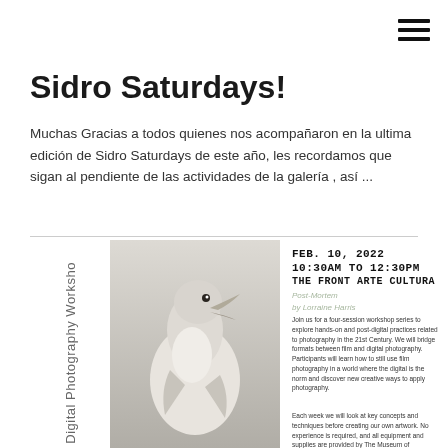Sidro Saturdays!
Muchas Gracias a todos quienes nos acompañaron en la ultima edición de Sidro Saturdays de este año, les recordamos que sigan al pendiente de las actividades de la galería , así ...
[Figure (photo): Workshop flyer showing a bird (seagull/cormorant) close-up with open beak, alongside event information: 'FEB. 10, 2022 10:30AM TO 12:30PM THE FRONT ARTE CULTURA' with workshop description text. Rotated text on left reads 'st Digital Photography Worksho']